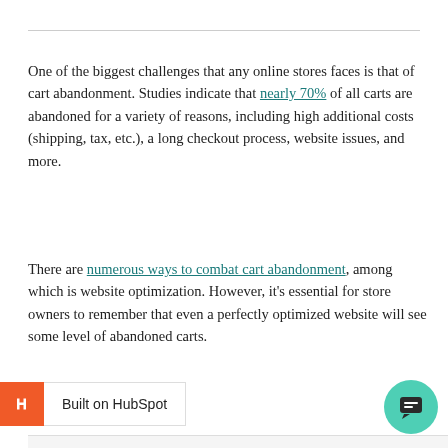One of the biggest challenges that any online stores faces is that of cart abandonment. Studies indicate that nearly 70% of all carts are abandoned for a variety of reasons, including high additional costs (shipping, tax, etc.), a long checkout process, website issues, and more.
There are numerous ways to combat cart abandonment, among which is website optimization. However, it's essential for store owners to remember that even a perfectly optimized website will see some level of abandoned carts.
Built on HubSpot